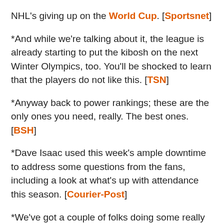NHL's giving up on the World Cup. [Sportsnet]
*And while we're talking about it, the league is already starting to put the kibosh on the next Winter Olympics, too. You'll be shocked to learn that the players do not like this. [TSN]
*Anyway back to power rankings; these are the only ones you need, really. The best ones. [BSH]
*Dave Isaac used this week's ample downtime to address some questions from the fans, including a look at what's up with attendance this season. [Courier-Post]
*We've got a couple of folks doing some really great work on Phantoms stats this season, and as a result we've got a nice little snapshot of the Phantoms'